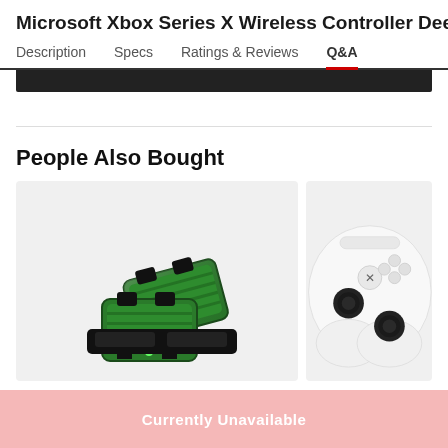Microsoft Xbox Series X Wireless Controller Deep Pin
Description   Specs   Ratings & Reviews   Q&A
People Also Bought
[Figure (photo): Green Xbox rechargeable battery pack with charging dock accessories]
[Figure (photo): White Xbox Series S wireless controller with black thumbsticks and Xbox logo button]
Currently Unavailable